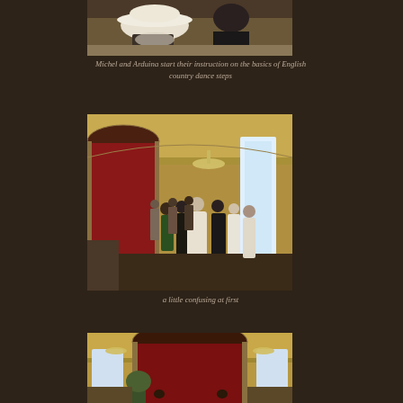[Figure (photo): Photo of people viewed from behind, a woman in a large white hat with flowers visible, at what appears to be a dance or social event]
Michel and Arduina start their instruction on the basics of English country dance steps
[Figure (photo): Photo of a ballroom or large hall with ornate walls and arched doorways, people standing in lines practicing dance steps, chandelier visible in background]
a little confusing at first
[Figure (photo): Photo of the same ornate ballroom viewed from a different angle, showing the stage area with dark curtains and decorative archway]